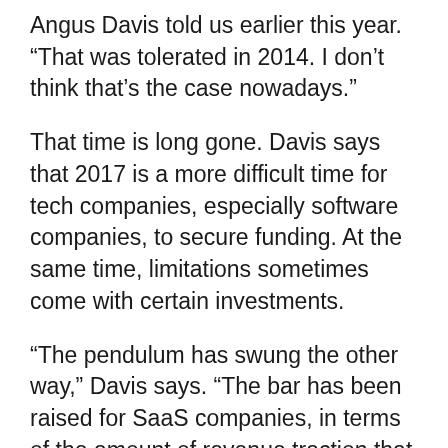Angus Davis told us earlier this year. “That was tolerated in 2014. I don’t think that’s the case nowadays.”
That time is long gone. Davis says that 2017 is a more difficult time for tech companies, especially software companies, to secure funding. At the same time, limitations sometimes come with certain investments.
“The pendulum has swung the other way,” Davis says. “The bar has been raised for SaaS companies, in terms of the amount of revenue traction that investors want to see, before they’re willing to invest.”
The good news, according to Davis, is